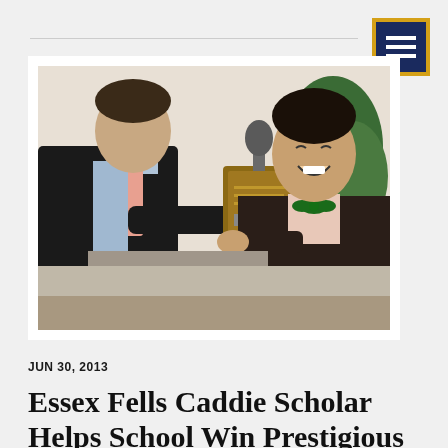[Figure (photo): Two men exchanging a trophy/award plaque. The man on the right is younger, wearing a dark suit with a green bow tie and smiling. The man on the left is presenting the award. Indoor setting with plants in the background.]
JUN 30, 2013
Essex Fells Caddie Scholar Helps School Win Prestigious Marketing